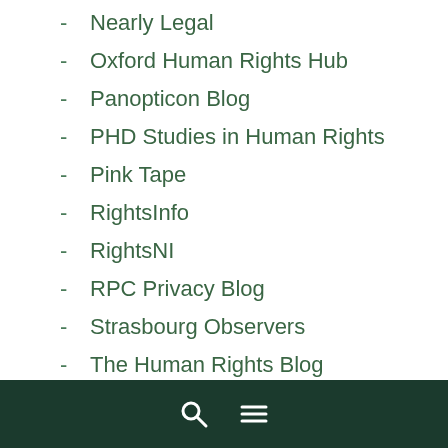Nearly Legal
Oxford Human Rights Hub
Panopticon Blog
PHD Studies in Human Rights
Pink Tape
RightsInfo
RightsNI
RPC Privacy Blog
Strasbourg Observers
The Human Rights Blog
The Justice Gap
The Magistrate's Blog
The Pupillage Blog
The Small Places
The Time Blawg
UK Constitutional Law Group blog
🔍 ☰